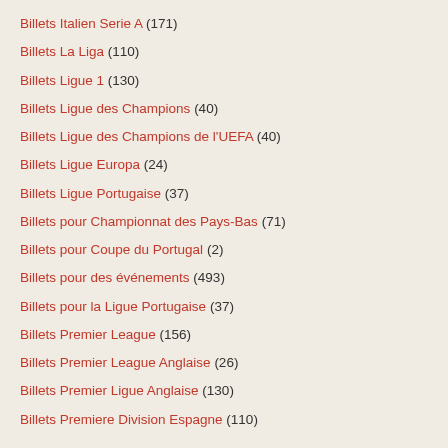Billets Italien Serie A (171)
Billets La Liga (110)
Billets Ligue 1 (130)
Billets Ligue des Champions (40)
Billets Ligue des Champions de l'UEFA (40)
Billets Ligue Europa (24)
Billets Ligue Portugaise (37)
Billets pour Championnat des Pays-Bas (71)
Billets pour Coupe du Portugal (2)
Billets pour des événements (493)
Billets pour la Ligue Portugaise (37)
Billets Premier League (156)
Billets Premier League Anglaise (26)
Billets Premier Ligue Anglaise (130)
Billets Premiere Division Espagne (110)